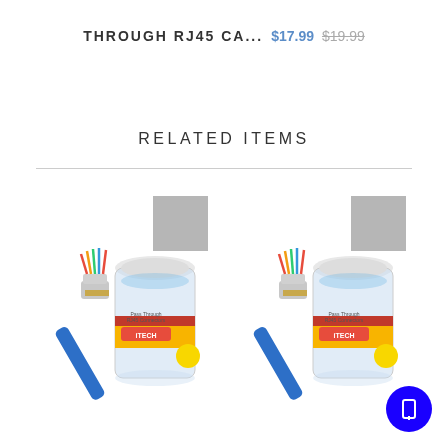THROUGH RJ45 CA... $17.99 $19.99
RELATED ITEMS
[Figure (photo): Two product images side by side: RJ45 cable connectors with a jar of pass-through connectors (iTECH brand), each with a gray badge overlay in top-right corner]
[Figure (other): Blue circular FAB button with a bookmark/info icon in bottom-right corner]